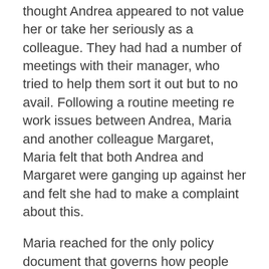thought Andrea appeared to not value her or take her seriously as a colleague. They had had a number of meetings with their manager, who tried to help them sort it out but to no avail. Following a routine meeting re work issues between Andrea, Maria and another colleague Margaret, Maria felt that both Andrea and Margaret were ganging up against her and felt she had to make a complaint about this.
Maria reached for the only policy document that governs how people interact and get along in the organisation – the 'anti-bullying' or euphemistically entitled 'Dignity at Work' policy. She made an official complaint about Andrea and Margaret. It took about fourteen months to run the bullying investigation, which also involved with get things from the colleagues